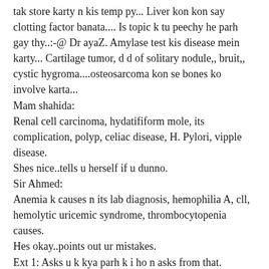tak store karty n kis temp py... Liver kon kon say clotting factor banata.... Is topic k tu peechy he parh gay thy..:-@ Dr ayaZ. Amylase test kis disease mein karty... Cartilage tumor, d d of solitary nodule,, bruit,, cystic hygroma....osteosarcoma kon se bones ko involve karta... Mam shahida:
Renal cell carcinoma, hydatifiform mole, its complication, polyp, celiac disease, H. Pylori, vipple disease.
Shes nice..tells u herself if u dunno.
Sir Ahmed:
Anemia k causes n its lab diagnosis, hemophilia A, cll, hemolytic uricemic syndrome, thrombocytopenia causes.
Hes okay..points out ur mistakes.
Ext 1: Asks u k kya parh k i ho n asks from that.
Malignant renal cell ca, thyroid ca, diff btw follicular adenona n ca, estrogen producing tumors, types of hyperplasia. Urea level in blood.